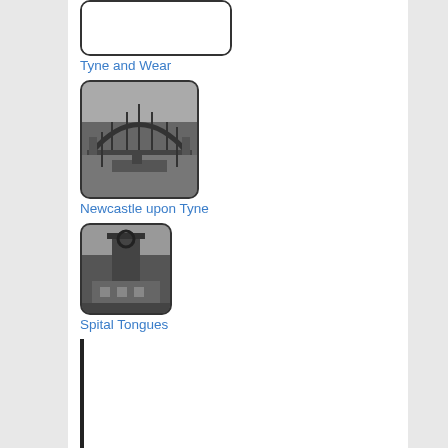[Figure (photo): Partial top of a photo placeholder with rounded border, largely white/empty (cropped at top)]
Tyne and Wear
[Figure (photo): Black and white photograph of the Tyne Bridge in Newcastle upon Tyne, showing the arch bridge structure over the river with ships below]
Newcastle upon Tyne
[Figure (photo): Black and white photograph of a colliery headframe/winding tower structure at Spital Tongues]
Spital Tongues
[Figure (other): Thin vertical black line placeholder, representing a mostly cropped/empty image thumbnail]
Spital Tongues Colliery (1830s-1858)
[Figure (photo): Black and white photograph of buildings/terraced houses, partially visible at bottom of page]